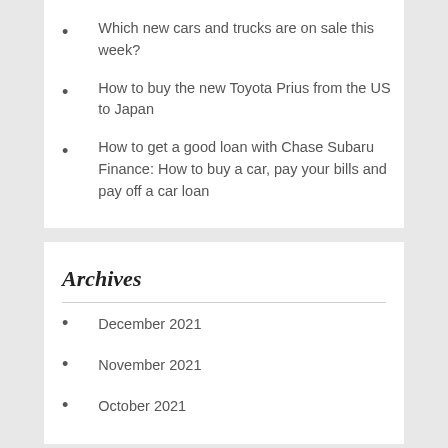Which new cars and trucks are on sale this week?
How to buy the new Toyota Prius from the US to Japan
How to get a good loan with Chase Subaru Finance: How to buy a car, pay your bills and pay off a car loan
Archives
December 2021
November 2021
October 2021